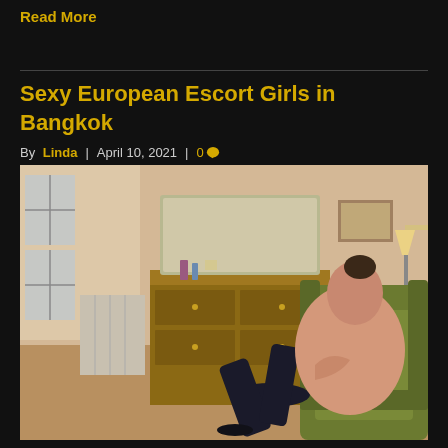Read More
Sexy European Escort Girls in Bangkok
By Linda | April 10, 2021 | 0
[Figure (photo): A young woman sitting in an olive green armchair in a bedroom setting with a wooden dresser and mirror in the background]